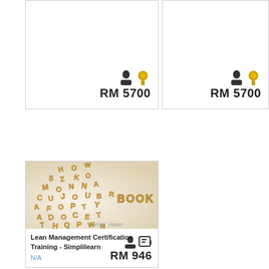[Figure (other): Top-left course card showing person and badge icons with price RM 5700]
[Figure (other): Top-right course card showing person and badge icons with price RM 5700]
[Figure (photo): Cookie/biscuit alphabet letters arranged with the word BOOK spelled out, with Simplilearn logo. Lean Management Certification Training - Simplilearn course card. Price RM 946. N/A rating.]